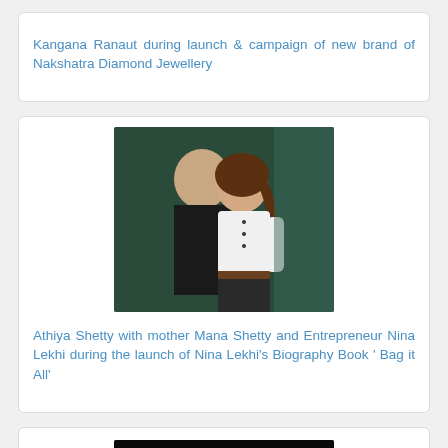Kangana Ranaut during launch & campaign of new brand of Nakshatra Diamond Jewellery
[Figure (photo): Photo of Athiya Shetty with mother Mana Shetty at an event, woman in white shirt posing with older woman in black]
Athiya Shetty with mother Mana Shetty and Entrepreneur Nina Lekhi during the launch of Nina Lekhi's Biography Book ' Bag it All'
[Figure (photo): Photo of a model at a fashion event, dark background, model with short hair]